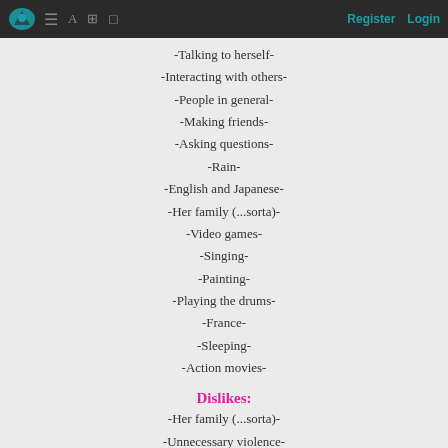Register  Login
-Talking to herself-
-Interacting with others-
-People in general-
-Making friends-
-Asking questions-
-Rain-
-English and Japanese-
-Her family (...sorta)-
-Video games-
-Singing-
-Painting-
-Playing the drums-
-France-
-Sleeping-
-Action movies-
Dislikes:
-Her family (...sorta)-
-Unnecessary violence-
-Being ignored-
-Her questions remaining unanswered-
-People getting offensive-
-Secrets-